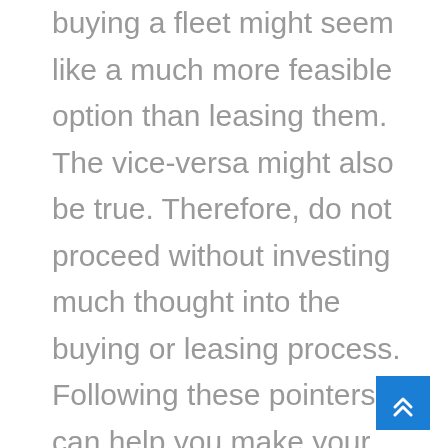buying a fleet might seem like a much more feasible option than leasing them. The vice-versa might also be true. Therefore, do not proceed without investing much thought into the buying or leasing process. Following these pointers can help you make your casino bus service quite a success, and you might even start having a monopoly in the market of your region.
[Figure (other): Blue scroll-to-top button with double upward chevron arrows in the bottom-right corner]